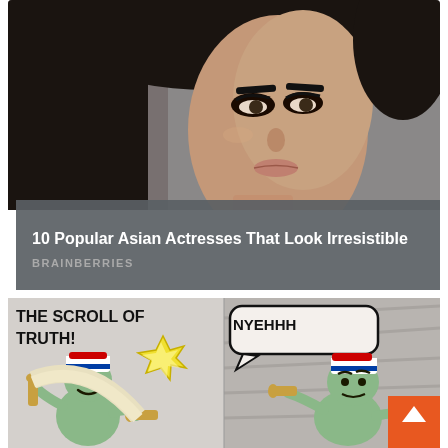[Figure (photo): Close-up portrait photo of a woman with dark hair, defined eyebrows, and dramatic eye makeup, looking upward against a gray background.]
10 Popular Asian Actresses That Look Irresistible
BRAINBERRIES
[Figure (illustration): Comic/meme illustration split into two panels. Left panel shows a stick-figure character with a Russian flag hat holding a glowing scroll labeled 'THE SCROLL OF TRUTH!' with a starburst light effect. Right panel shows another similar character with a Russian flag hat reacting with a speech bubble saying 'NYEHHH'. An orange scroll-to-top arrow button is in the bottom-right corner.]